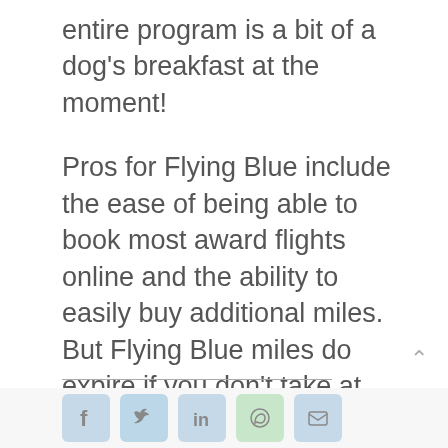entire program is a bit of a dog's breakfast at the moment!
Pros for Flying Blue include the ease of being able to book most award flights online and the ability to easily buy additional miles. But Flying Blue miles do expire if you don't take at least one flight with a SkyTeam airline every 2 years.
Join the discussion about SkyTeam frequent flyer programs on the Australian Frequent Flyer forum: Skyteam Which program?